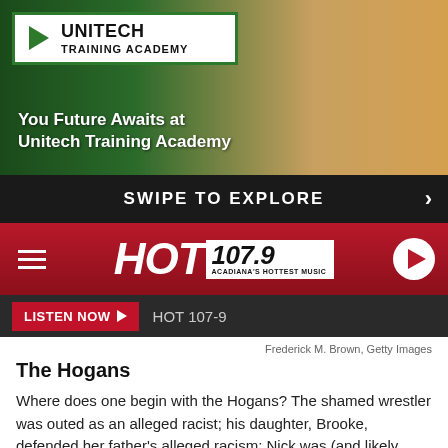[Figure (photo): Unitech Training Academy advertisement banner with graduation photo and logo]
SWIPE TO EXPLORE
[Figure (logo): HOT 107.9 Acadiana's Hottest Music radio station navigation bar with hamburger menu and play button]
LISTEN NOW ▶  HOT 107-9
Frederick M. Brown, Getty Images
The Hogans
Where does one begin with the Hogans? The shamed wrestler was outed as an alleged racist; his daughter, Brooke, defended her father's alleged racism; Nick was (and likely remains) in constant grief over the car accident that left his friend with brain damage; and matriarch Linda suffered a contentious split with Hollywood, her illness, a major DUI...